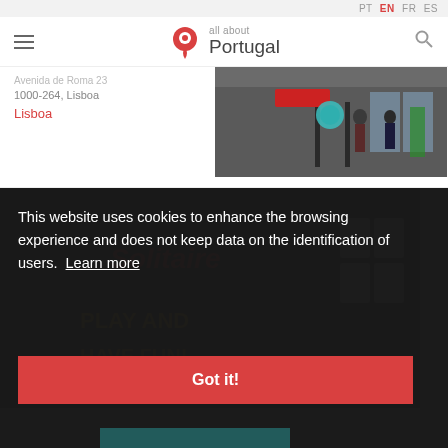PT EN FR ES
[Figure (logo): All About Portugal logo with red map pin icon and text 'all about Portugal']
Avenida de Roma 23
1000-264, Lisboa
Lisboa
[Figure (photo): Street scene photo showing a mall or shopping area entrance with people walking, signs, and glass doors in Lisbon]
This website uses cookies to enhance the browsing experience and does not keep data on the identification of users.  Learn more
Got it!